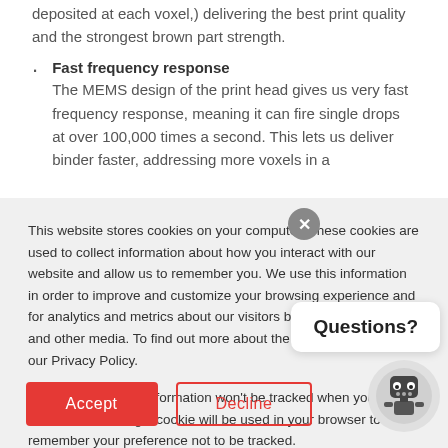deposited at each voxel,) delivering the best print quality and the strongest brown part strength.
Fast frequency response
The MEMS design of the print head gives us very fast frequency response, meaning it can fire single drops at over 100,000 times a second. This lets us deliver binder faster, addressing more voxels in a
This website stores cookies on your computer. These cookies are used to collect information about how you interact with our website and allow us to remember you. We use this information in order to improve and customize your browsing experience and for analytics and metrics about our visitors both on this website and other media. To find out more about the cookies we use, see our Privacy Policy.
If you decline, your information won't be tracked when you visit this website. A single cookie will be used in your browser to remember your preference not to be tracked.
Questions?